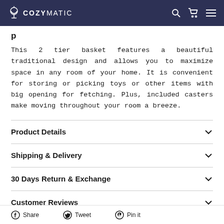COZYMATIC
This 2 tier basket features a beautiful traditional design and allows you to maximize space in any room of your home. It is convenient for storing or picking toys or other items with big opening for fetching. Plus, included casters make moving throughout your room a breeze.
Product Details
Shipping & Delivery
30 Days Return & Exchange
Customer Reviews
Share  Tweet  Pin it